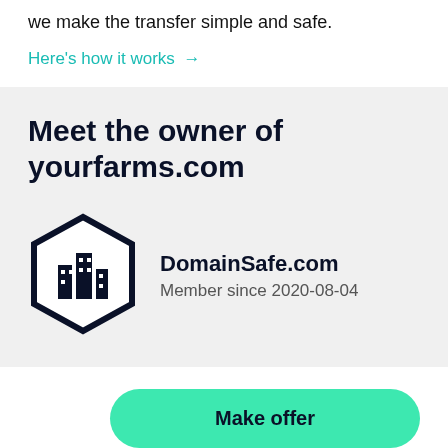we make the transfer simple and safe.
Here's how it works →
Meet the owner of yourfarms.com
[Figure (logo): DomainSafe.com hexagon logo with stylized building/city icon in black and white]
DomainSafe.com
Member since 2020-08-04
Make offer